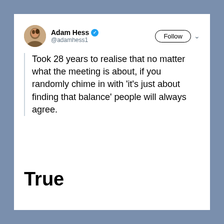[Figure (screenshot): Screenshot of a tweet by Adam Hess (@adamhess1) with a Follow button. Tweet text: 'Took 28 years to realise that no matter what the meeting is about, if you randomly chime in with 'it’s just about finding that balance' people will always agree.']
True